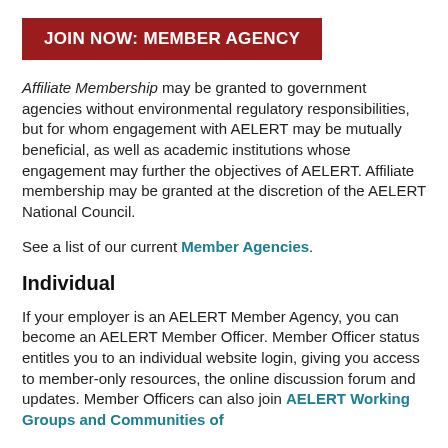JOIN NOW: MEMBER AGENCY
Affiliate Membership may be granted to government agencies without environmental regulatory responsibilities, but for whom engagement with AELERT may be mutually beneficial, as well as academic institutions whose engagement may further the objectives of AELERT. Affiliate membership may be granted at the discretion of the AELERT National Council.
See a list of our current Member Agencies.
Individual
If your employer is an AELERT Member Agency, you can become an AELERT Member Officer. Member Officer status entitles you to an individual website login, giving you access to member-only resources, the online discussion forum and updates. Member Officers can also join AELERT Working Groups and Communities of